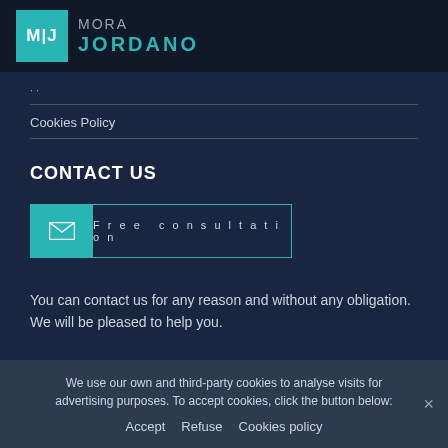MJ MORA JORDANO
Cookies Policy
CONTACT US
[Figure (illustration): Free consultation button with teal envelope icon on left and text 'Free consultation' on right, outlined in teal]
You can contact us for any reason and without any obligation. We will be pleased to help you.
We use our own and third-party cookies to analyse visits for advertising purposes. To accept cookies, click the button below:
Accept   Refuse   Cookies policy